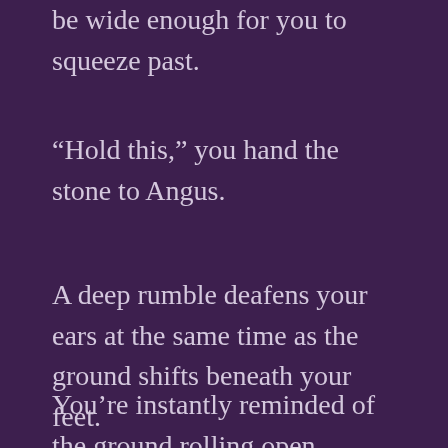be wide enough for you to squeeze past.
“Hold this,” you hand the stone to Angus.
A deep rumble deafens your ears at the same time as the ground shifts beneath your feet.
You’re instantly reminded of the ground rolling open beneath the rest of the group. I’d forgotten to ask anyone to…